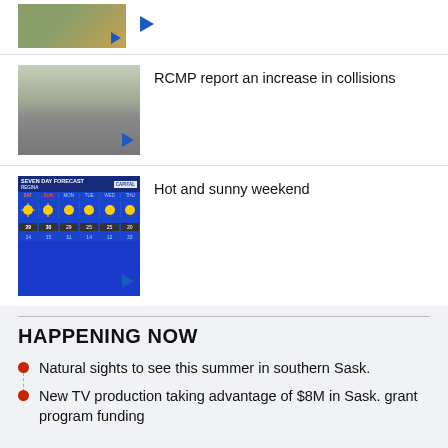[Figure (photo): Partial thumbnail image of outdoor scene at top of page with play button]
[Figure (photo): Thumbnail of road collision/accident scene with vehicles on roadside]
RCMP report an increase in collisions
[Figure (screenshot): Seven Day Forecast weather graphic for Regina from Capital TV showing sun icons and temperatures]
Hot and sunny weekend
HAPPENING NOW
Natural sights to see this summer in southern Sask.
New TV production taking advantage of $8M in Sask. grant program funding